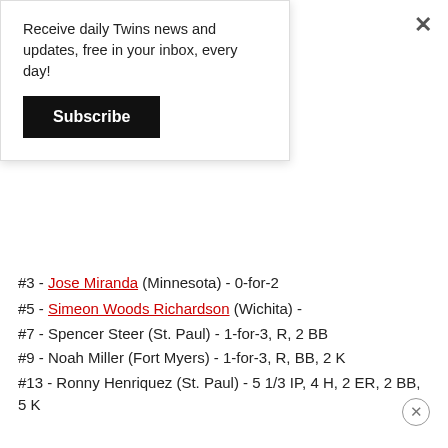Receive daily Twins news and updates, free in your inbox, every day!
Subscribe
#3 - Jose Miranda (Minnesota) - 0-for-2
#5 - Simeon Woods Richardson (Wichita) -
#7 - Spencer Steer (St. Paul) - 1-for-3, R, 2 BB
#9 - Noah Miller (Fort Myers) - 1-for-3, R, BB, 2 K
#13 - Ronny Henriquez (St. Paul) - 5 1/3 IP, 4 H, 2 ER, 2 BB, 5 K
#15 - Matt Wallner (Wichita) - 3-for-5, 3 R, 2 HR, 4 RBI
#16 - Edouard Julien (Wichita) - 2-for-3, R, 2 RBI
#18 - Christian Encarnacion-Strand (Cedar Rapids) - 1-for-4, 2B, RBI, K
#20 - David Festa (Cedar Rapids) - 6 IP, 2 H, 1 ER, 4 BB, 3 K
WEDNESDAY'S PROBABLE STARTERS